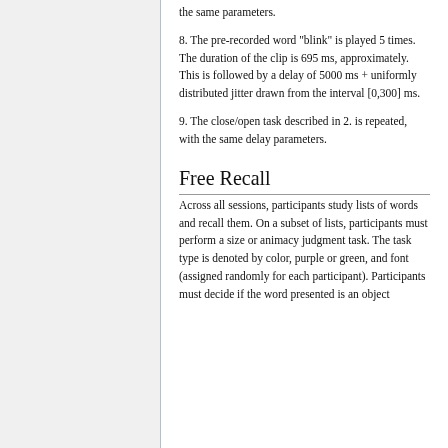8. The pre-recorded word "blink" is played 5 times. The duration of the clip is 695 ms, approximately. This is followed by a delay of 5000 ms + uniformly distributed jitter drawn from the interval [0,300] ms.
9. The close/open task described in 2. is repeated, with the same delay parameters.
Free Recall
Across all sessions, participants study lists of words and recall them. On a subset of lists, participants must perform a size or animacy judgment task. The task type is denoted by color, purple or green, and font (assigned randomly for each participant). Participants must decide if the word presented is an object